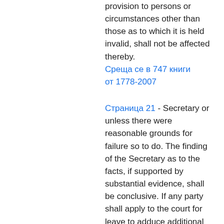provision to persons or circumstances other than those as to which it is held invalid, shall not be affected thereby.
Среща се в 747 книги от 1778-2007
Страница 21 - Secretary or unless there were reasonable grounds for failure so to do. The finding of the Secretary as to the facts, if supported by substantial evidence, shall be conclusive. If any party shall apply to the court for leave to adduce additional evidence, and shall show to the satisfaction of the court that such additional evidence is material and